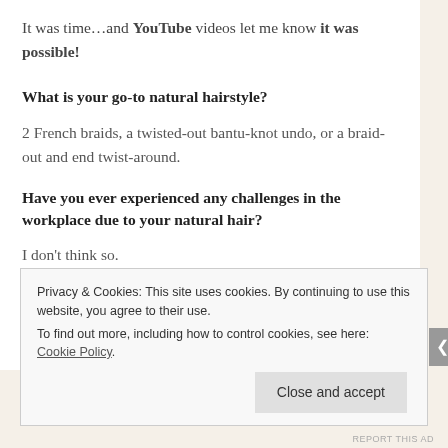It was time…and YouTube videos let me know it was possible!
What is your go-to natural hairstyle?
2 French braids, a twisted-out bantu-knot undo, or a braid-out and end twist-around.
Have you ever experienced any challenges in the workplace due to your natural hair?
I don't think so.
Privacy & Cookies: This site uses cookies. By continuing to use this website, you agree to their use.
To find out more, including how to control cookies, see here: Cookie Policy
Close and accept